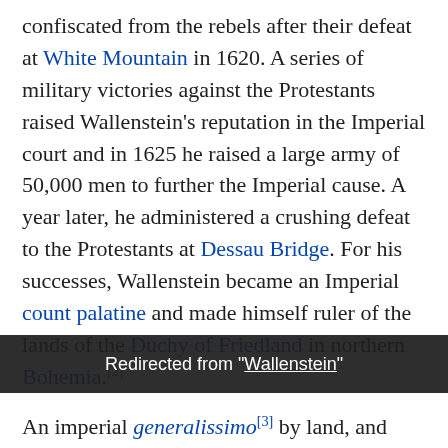confiscated from the rebels after their defeat at White Mountain in 1620. A series of military victories against the Protestants raised Wallenstein's reputation in the Imperial court and in 1625 he raised a large army of 50,000 men to further the Imperial cause. A year later, he administered a crushing defeat to the Protestants at Dessau Bridge. For his successes, Wallenstein became an Imperial count palatine and made himself ruler of the lands of the Duchy of Friedland in northern Bohemia.[2]
An imperial generalissimo[3] by land, and Admiral of the Baltic Sea from 21 April 1628,[4] Wallenstein found himself released from service in 1630 after Ferdinand grew wary of his ambition.[5] Several Protestant victories over Catholic armies induced Ferdinand to recall Wallenstein (Go... h king Gustavus Adolphus at Alte Veste. The Swedish king
Redirected from "Wallenstein"